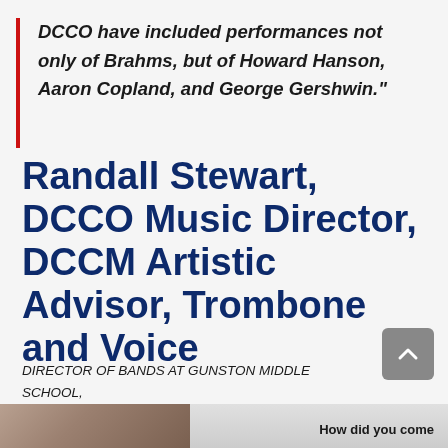DCCO have included performances not only of Brahms, but of Howard Hanson, Aaron Copland, and George Gershwin.”
Randall Stewart, DCCO Music Director, DCCM Artistic Advisor, Trombone and Voice
DIRECTOR OF BANDS AT GUNSTON MIDDLE SCHOOL, ARLINGTON, VA
FROM CHARLESTON, WV
[Figure (photo): Partial photo of a person at the bottom left of the page, partially cut off]
How did you come